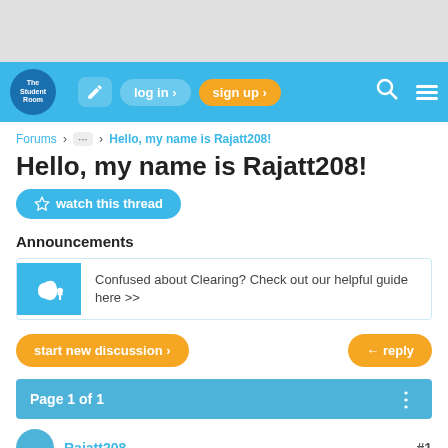[Figure (screenshot): The Student Room website navigation bar with logo, login, sign up, search and menu icons on a blue background]
Forums > ... > Hello, my name is Rajatt208!
Hello, my name is Rajatt208!
watch this thread
Announcements
Confused about Clearing? Check out our helpful guide here >>
start new discussion >
reply
Page 1 of 1
Rajatt208
#1